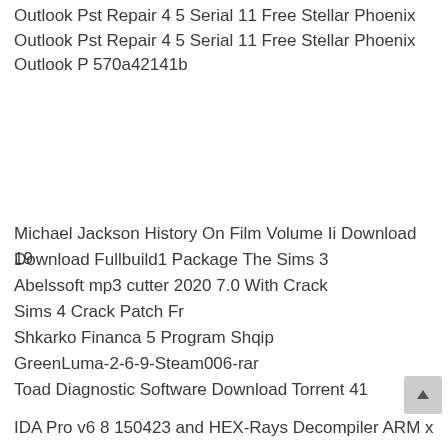Outlook Pst Repair 4 5 Serial 11 Free Stellar Phoenix Outlook Pst Repair 4 5 Serial 11 Free Stellar Phoenix Outlook P 570a42141b
Michael Jackson History On Film Volume Ii Download 19
Download Fullbuild1 Package The Sims 3
Abelssoft mp3 cutter 2020 7.0 With Crack
Sims 4 Crack Patch Fr
Shkarko Financa 5 Program Shqip
GreenLuma-2-6-9-Steam006-rar
Toad Diagnostic Software Download Torrent 41
IDA Pro v6 8 150423 and HEX-Rays Decompiler ARM x86 x64-